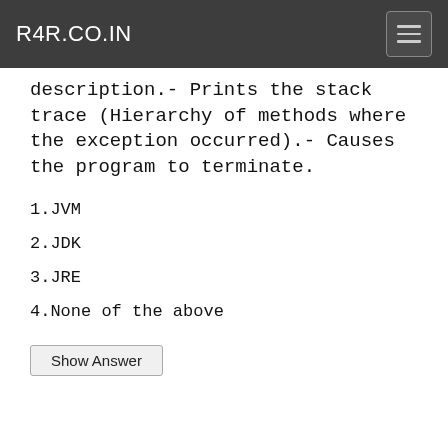R4R.CO.IN
description.- Prints the stack trace (Hierarchy of methods where the exception occurred).- Causes the program to terminate.
1.JVM
2.JDK
3.JRE
4.None of the above
Show Answer